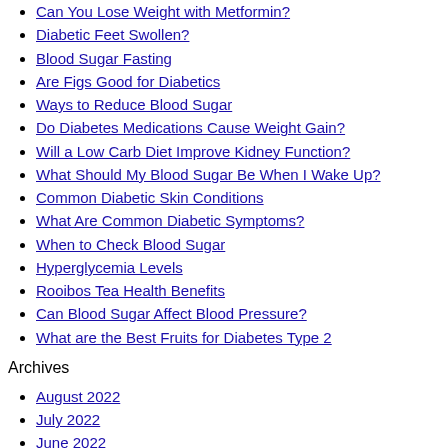Can You Lose Weight with Metformin?
Diabetic Feet Swollen?
Blood Sugar Fasting
Are Figs Good for Diabetics
Ways to Reduce Blood Sugar
Do Diabetes Medications Cause Weight Gain?
Will a Low Carb Diet Improve Kidney Function?
What Should My Blood Sugar Be When I Wake Up?
Common Diabetic Skin Conditions
What Are Common Diabetic Symptoms?
When to Check Blood Sugar
Hyperglycemia Levels
Rooibos Tea Health Benefits
Can Blood Sugar Affect Blood Pressure?
What are the Best Fruits for Diabetes Type 2
Archives
August 2022
July 2022
June 2022
May 2022
December 2021
November 2021
April 2021
September 2018